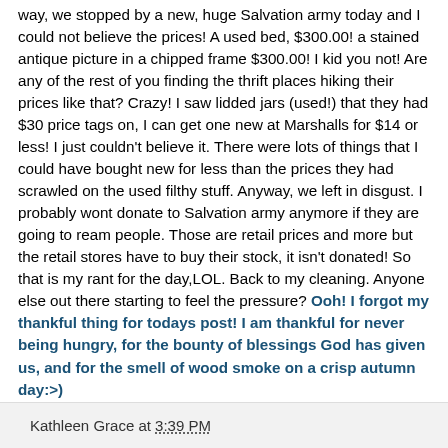way, we stopped by a new, huge Salvation army today and I could not believe the prices! A used bed, $300.00! a stained antique picture in a chipped frame $300.00! I kid you not! Are any of the rest of you finding the thrift places hiking their prices like that? Crazy! I saw lidded jars (used!) that they had $30 price tags on, I can get one new at Marshalls for $14 or less! I just couldn't believe it. There were lots of things that I could have bought new for less than the prices they had scrawled on the used filthy stuff. Anyway, we left in disgust. I probably wont donate to Salvation army anymore if they are going to ream people. Those are retail prices and more but the retail stores have to buy their stock, it isn't donated! So that is my rant for the day,LOL. Back to my cleaning. Anyone else out there starting to feel the pressure? Ooh! I forgot my thankful thing for todays post! I am thankful for never being hungry, for the bounty of blessings God has given us, and for the smell of wood smoke on a crisp autumn day:>)
Kathleen Grace at 3:39 PM